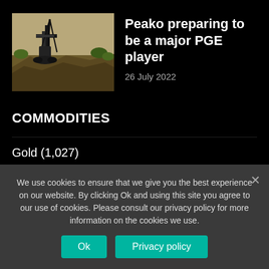[Figure (photo): Aerial or overhead photo of mining drill equipment on rocky terrain]
Peako preparing to be a major PGE player
26 July 2022
COMMODITIES
Gold (1,027)
Copper 410
Battery Metals 363
We use cookies to ensure that we give you the best experience on our website. By clicking Ok and using this site you agree to our use of cookies. Please consult our privacy policy for more information on the cookies we use.